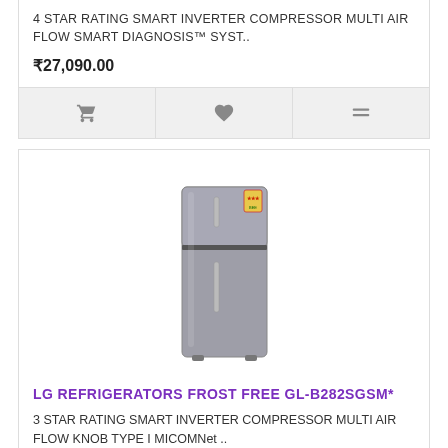4 STAR RATING SMART INVERTER COMPRESSOR MULTI AIR FLOW SMART DIAGNOSIS™ SYST..
₹27,090.00
[Figure (screenshot): Action bar with cart icon, heart/wishlist icon, and compare icon]
[Figure (photo): LG refrigerator GL-B282SGSM in steel finish, double door top freezer model]
LG REFRIGERATORS FROST FREE GL-B282SGSM*
3 STAR RATING SMART INVERTER COMPRESSOR MULTI AIR FLOW KNOB TYPE I MICOMNet ..